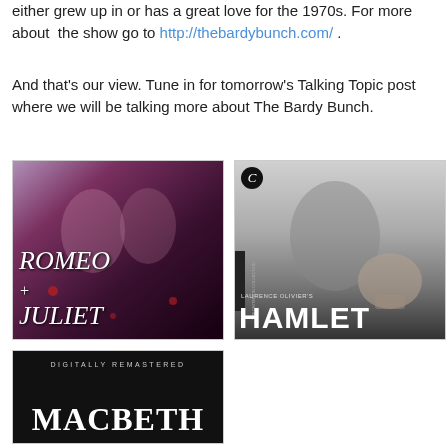either grew up in or has a great love for the 1970s. For more about the show go to http://thebardybunch.com/ .
And that's our view. Tune in for tomorrow's Talking Topic post where we will be talking more about The Bardy Bunch.
[Figure (illustration): Movie poster for Romeo + Juliet showing two young people about to kiss, with roses, purple and dark tones]
[Figure (illustration): Criterion Collection movie poster for Laurence Olivier's Hamlet, black and white, man holding a skull]
[Figure (illustration): Digitally Remastered Macbeth movie cover, black background with white text]